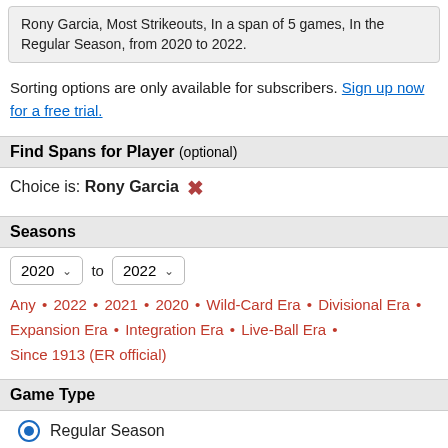Rony Garcia, Most Strikeouts, In a span of 5 games, In the Regular Season, from 2020 to 2022.
Sorting options are only available for subscribers. Sign up now for a free trial.
Find Spans for Player (optional)
Choice is: Rony Garcia ✕
Seasons
2020 to 2022
Any • 2022 • 2021 • 2020 • Wild-Card Era • Divisional Era • Expansion Era • Integration Era • Live-Ball Era • Since 1913 (ER official)
Game Type
Regular Season (selected)
All-Star Game
Postseason